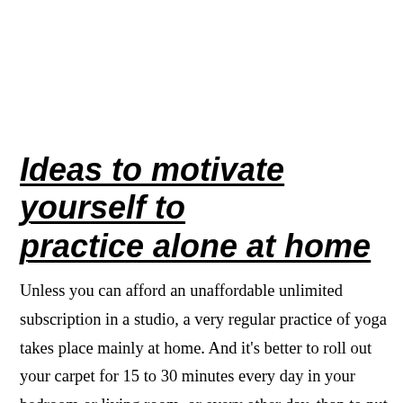Ideas to motivate yourself to practice alone at home
Unless you can afford an unaffordable unlimited subscription in a studio, a very regular practice of yoga takes place mainly at home. And it's better to roll out your carpet for 15 to 30 minutes every day in your bedroom or living room, or every other day, than to put your feet on it only once or twice a week in the studio. Because time, motivation and discipline...